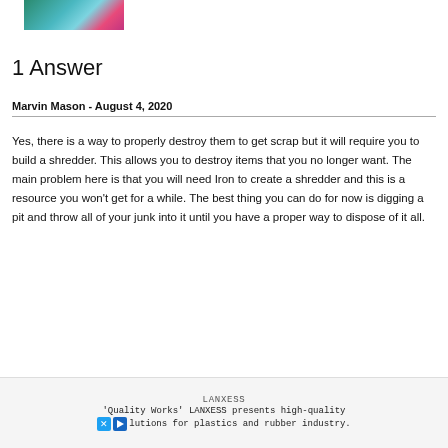[Figure (photo): Small colorful game screenshot thumbnail]
1 Answer
Marvin Mason - August 4, 2020
Yes, there is a way to properly destroy them to get scrap but it will require you to build a shredder. This allows you to destroy items that you no longer want. The main problem here is that you will need Iron to create a shredder and this is a resource you won't get for a while. The best thing you can do for now is digging a pit and throw all of your junk into it until you have a proper way to dispose of it all.
[Figure (screenshot): LANXESS advertisement - 'Quality Works' LANXESS presents high-quality solutions for plastics and rubber industry.]